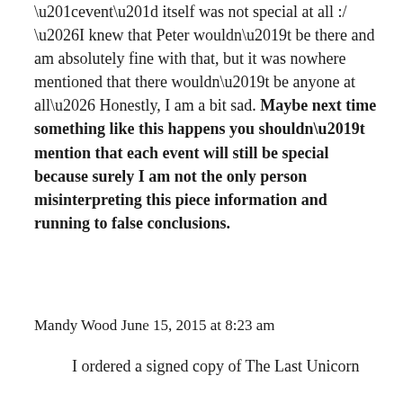“event” itself was not special at all :/ …I knew that Peter wouldn’t be there and am absolutely fine with that, but it was nowhere mentioned that there wouldn’t be anyone at all… Honestly, I am a bit sad. Maybe next time something like this happens you shouldn’t mention that each event will still be special because surely I am not the only person misinterpreting this piece information and running to false conclusions.
Mandy Wood June 15, 2015 at 8:23 am
I ordered a signed copy of The Last Unicorn